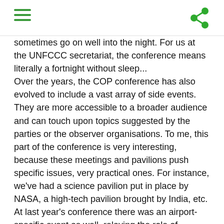[hamburger menu] [share icon]
sometimes go on well into the night. For us at the UNFCCC secretariat, the conference means literally a fortnight without sleep...
Over the years, the COP conference has also evolved to include a vast array of side events. They are more accessible to a broader audience and can touch upon topics suggested by the parties or the observer organisations. To me, this part of the conference is very interesting, because these meetings and pavilions push specific issues, very practical ones. For instance, we've had a science pavilion put in place by NASA, a high-tech pavilion brought by India, etc. At last year's conference there was an airport-specific event as well, relaying the role of airports in forging a more sustainable air travel.
We are most of the time talking about stopping the change, but it cannot be done without implementing changes...